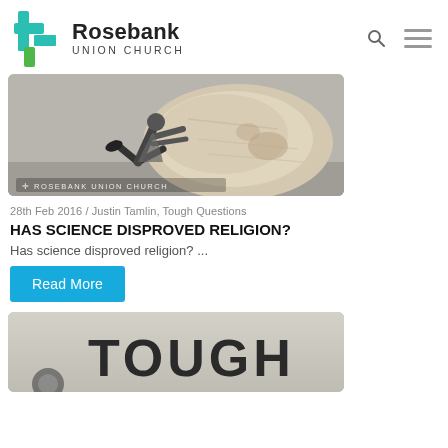Rosebank Union Church
[Figure (photo): Person pushing a large boulder/rock, black and white photo with Rosebank Union Church watermark]
28th Feb 2016 / Justin Tamlin, Tough Questions
HAS SCIENCE DISPROVED RELIGION?
Has science disproved religion? ...
Read More
[Figure (photo): Second article thumbnail showing text 'TOUGH' on a grey background]